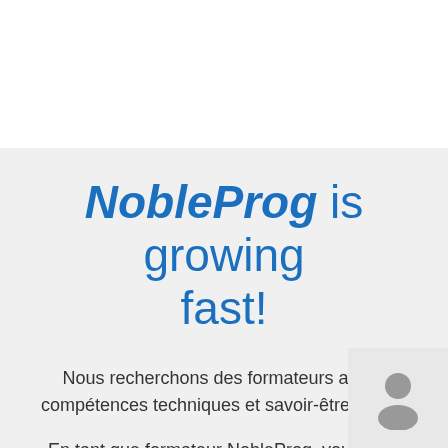NobleProg is growing fast!
Nous recherchons des formateurs alliant compétences techniques et savoir-être en Fra
En tant que formateur NobleProg, vous sere responsable de :
[Figure (illustration): Generic person/user avatar icon in gray]